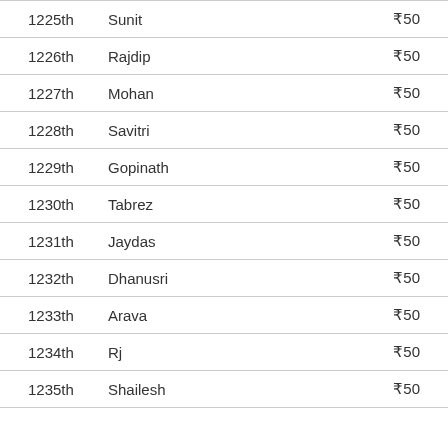| Rank | Name | Amount |
| --- | --- | --- |
| 1225th | Sunit | ₹50 |
| 1226th | Rajdip | ₹50 |
| 1227th | Mohan | ₹50 |
| 1228th | Savitri | ₹50 |
| 1229th | Gopinath | ₹50 |
| 1230th | Tabrez | ₹50 |
| 1231th | Jaydas | ₹50 |
| 1232th | Dhanusri | ₹50 |
| 1233th | Arava | ₹50 |
| 1234th | Rj | ₹50 |
| 1235th | Shailesh | ₹50 |